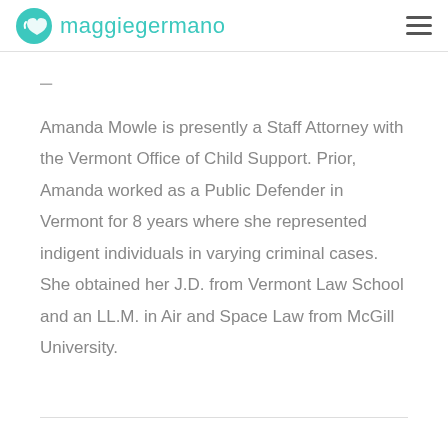maggie germano
–
Amanda Mowle is presently a Staff Attorney with the Vermont Office of Child Support. Prior, Amanda worked as a Public Defender in Vermont for 8 years where she represented indigent individuals in varying criminal cases. She obtained her J.D. from Vermont Law School and an LL.M. in Air and Space Law from McGill University.